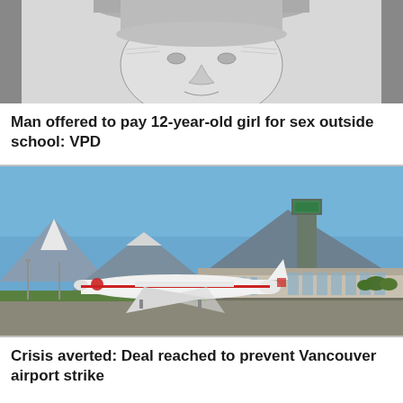[Figure (illustration): Black and white police sketch of a male suspect, showing face and hat from forehead down to chin]
Man offered to pay 12-year-old girl for sex outside school: VPD
[Figure (photo): Aerial/ground-level photograph of Vancouver International Airport with an Air Canada aircraft on the tarmac, control tower visible, mountains in background]
Crisis averted: Deal reached to prevent Vancouver airport strike